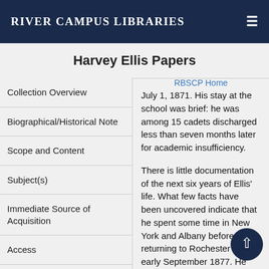River Campus Libraries
Harvey Ellis Papers
Collection Overview
Biographical/Historical Note
Scope and Content
Subject(s)
Immediate Source of Acquisition
Access
Use
July 1, 1871. His stay at the school was brief: he was among 15 cadets discharged less than seven months later for academic insufficiency.
There is little documentation of the next six years of Ellis' life. What few facts have been uncovered indicate that he spent some time in New York and Albany before returning to Rochester in early September 1877. He was a founder of the Rochester Art Club on September 5, 1877, and quickly gained recognition as a painter. In early 1879, he and his brother Charles established the architectural